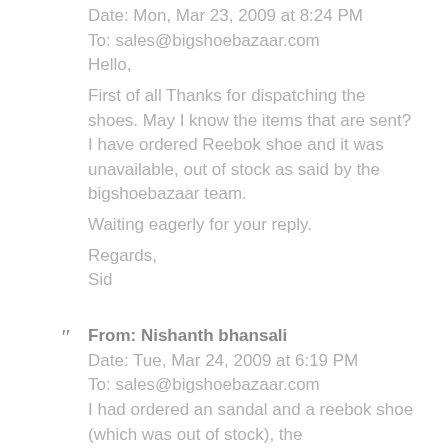Date: Mon, Mar 23, 2009 at 8:24 PM
To: sales@bigshoebazaar.com
Hello,
First of all Thanks for dispatching the shoes. May I know the items that are sent? I have ordered Reebok shoe and it was unavailable, out of stock as said by the bigshoebazaar team.
Waiting eagerly for your reply.
Regards,
Sid
From: Nishanth bhansali
Date: Tue, Mar 24, 2009 at 6:19 PM
To: sales@bigshoebazaar.com
I had ordered an sandal and a reebok shoe (which was out of stock), the